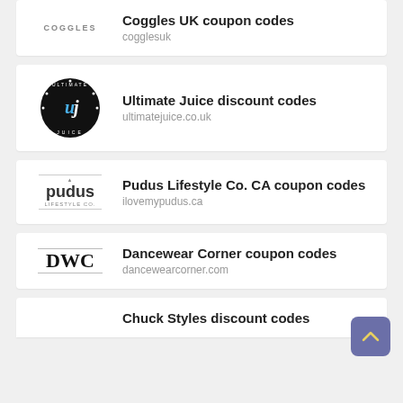Coggles UK coupon codes
cogglesuk
Ultimate Juice discount codes
ultimatejuice.co.uk
Pudus Lifestyle Co. CA coupon codes
ilovemypudus.ca
Dancewear Corner coupon codes
dancewearcorner.com
Chuck Styles discount codes